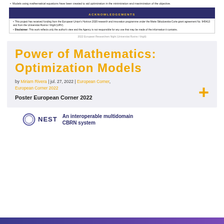Models using mathematical equations have been created to aid optimization in the minimization and maximization of the objective.
ACKNOWLEDGEMENTS
This project has received funding from the European Union's Horizon 2020 research and innovation programme under the Marie Skłodowska-Curie grant agreement No. 945413 and from the Universitat Rovira i Virgili (URV).
Disclaimer: This work reflects only the author's view and the Agency is not responsible for any use that may be made of the information it contains.
2022 European Researchers Night (Universitat Rovira i Virgili)
Power of Mathematics: Optimization Models
by Miriam Rivera | jul. 27, 2022 | European Corner, European Corner 2022
Poster European Corner 2022
[Figure (logo): NEST logo with circle icon and tagline 'An interoperable multidomain CBRN system']